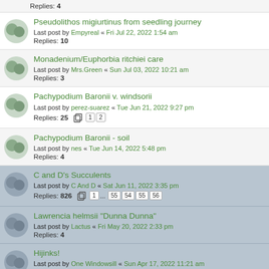Replies: 4
Pseudolithos migiurtinus from seedling journey
Last post by Empyreal « Fri Jul 22, 2022 1:54 am
Replies: 10
Monadenium/Euphorbia ritchiei care
Last post by Mrs.Green « Sun Jul 03, 2022 10:21 am
Replies: 3
Pachypodium Baronii v. windsorii
Last post by perez-suarez « Tue Jun 21, 2022 9:27 pm
Replies: 25  [pages: 1, 2]
Pachypodium Baronii - soil
Last post by nes « Tue Jun 14, 2022 5:48 pm
Replies: 4
C and D's Succulents
Last post by C And D « Sat Jun 11, 2022 3:35 pm
Replies: 826  [pages: 1 ... 55 54 55 56]
Lawrencia helmsii "Dunna Dunna"
Last post by Lactus « Fri May 20, 2022 2:33 pm
Replies: 4
Hijinks!
Last post by One Windowsill « Sun Apr 17, 2022 11:21 am
This website uses cookies to ensure you get the best experience on our website.  Learn more
Got it!